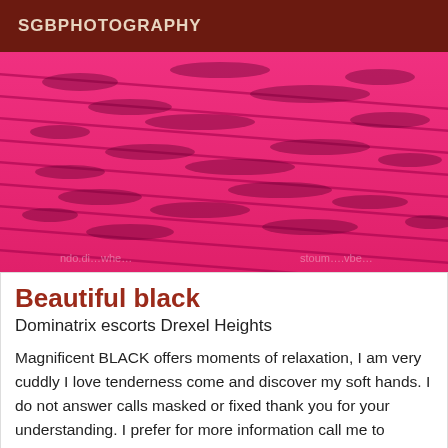SGBPHOTOGRAPHY
[Figure (photo): Close-up photo of pink fabric with dark stripe pattern, with faint watermark text at bottom.]
Beautiful black
Dominatrix escorts Drexel Heights
Magnificent BLACK offers moments of relaxation, I am very cuddly I love tenderness come and discover my soft hands. I do not answer calls masked or fixed thank you for your understanding. I prefer for more information call me to exchange I prefer courteous and gentlemanly men
[Figure (photo): Partial photo showing a blurred indoor scene with light purple and blue tones, with an 'Online' badge overlay.]